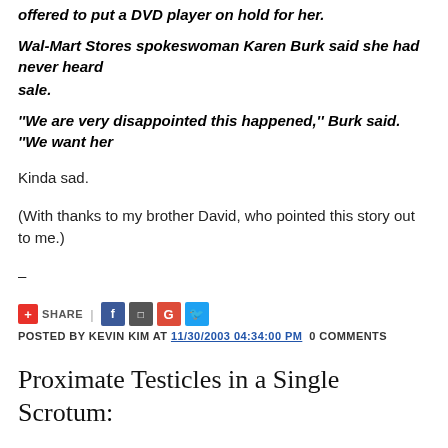offered to put a DVD player on hold for her.
Wal-Mart Stores spokeswoman Karen Burk said she had never heard of a similar incident during a sale.
"We are very disappointed this happened,'' Burk said. "We want her...
Kinda sad.
(With thanks to my brother David, who pointed this story out to me.)
–
SHARE | [social buttons] POSTED BY KEVIN KIM AT 11/30/2003 04:34:00 PM 0 COMMENTS
Proximate Testicles in a Single Scrotum: